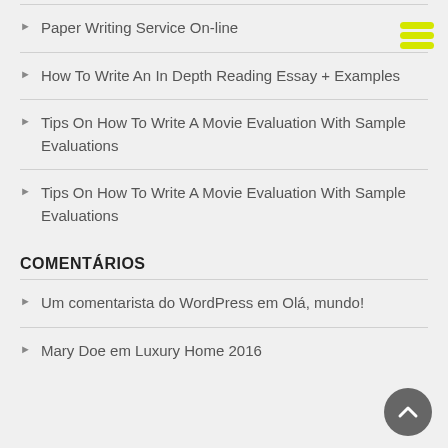[Figure (other): Yellow horizontal lines menu icon in top right corner]
Paper Writing Service On-line
How To Write An In Depth Reading Essay + Examples
Tips On How To Write A Movie Evaluation With Sample Evaluations
Tips On How To Write A Movie Evaluation With Sample Evaluations
COMENTÁRIOS
Um comentarista do WordPress em Olá, mundo!
Mary Doe em Luxury Home 2016
[Figure (other): Back to top arrow button, dark gray circle with upward chevron]